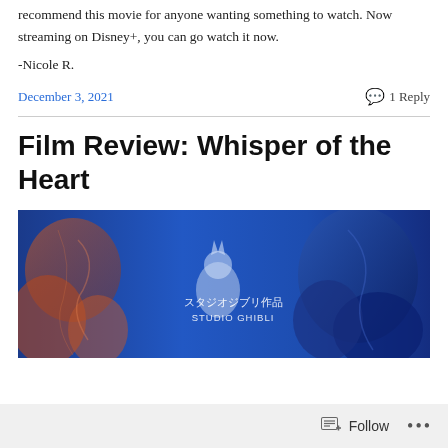recommend this movie for anyone wanting something to watch. Now streaming on Disney+, you can go watch it now.
-Nicole R.
December 3, 2021   1 Reply
Film Review: Whisper of the Heart
[Figure (photo): Blue-toned Studio Ghibli banner image with characters and text reading スタジオジブリ作品 / STUDIO GHIBLI]
Follow ...